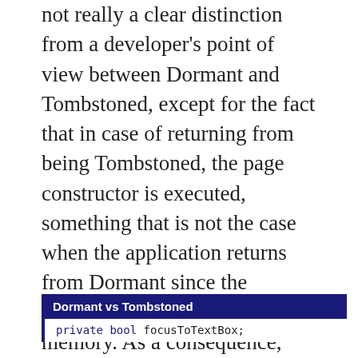not really a clear distinction from a developer's point of view between Dormant and Tombstoned, except for the fact that in case of returning from being Tombstoned, the page constructor is executed, something that is not the case when the application returns from Dormant since the application was still in memory. As a consequence, returning from the Dormant state also means that the Loaded event on the page is not fired. So, even though returning to the foreground is faster if we were in the Dormant state, we need some additional logic to give the textbox focus in this case. In order to distinguish between Dormant and Tombstoned, it is possible to set a boolean variable in the constructor of a page to true and check that variable in the OnNavigatedTo method:
[Figure (screenshot): Code box with dark navy header 'Dormant vs Tombstoned' and code line: private bool focusToTextBox;]